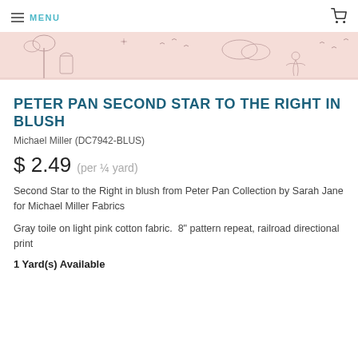MENU
[Figure (illustration): A pink/blush toile fabric banner showing Peter Pan-themed illustrations including trees, a door, clouds, and character silhouettes in gray line art on light pink background]
PETER PAN SECOND STAR TO THE RIGHT IN BLUSH
Michael Miller (DC7942-BLUS)
$ 2.49 (per ¼ yard)
Second Star to the Right in blush from Peter Pan Collection by Sarah Jane for Michael Miller Fabrics
Gray toile on light pink cotton fabric.  8" pattern repeat, railroad directional print
1 Yard(s) Available